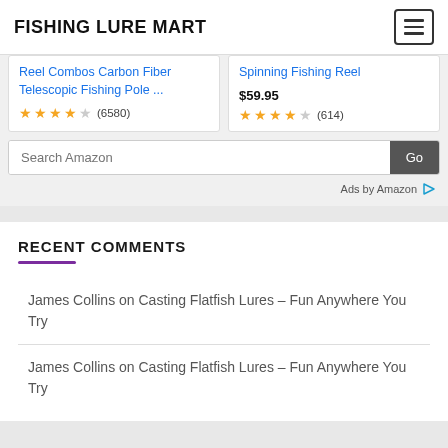FISHING LURE MART
Reel Combos Carbon Fiber Telescopic Fishing Pole ... (4.5 stars, 6580 reviews)
Spinning Fishing Reel
$59.95 (4.5 stars, 614 reviews)
Search Amazon | Go
Ads by Amazon
RECENT COMMENTS
James Collins on Casting Flatfish Lures – Fun Anywhere You Try
James Collins on Casting Flatfish Lures – Fun Anywhere You Try